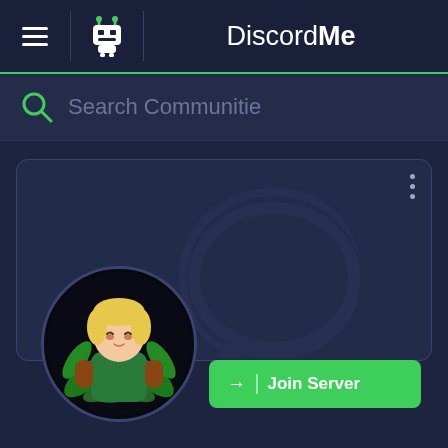[Figure (screenshot): DiscordMe website screenshot showing navigation bar with hamburger menu, robot icon, and DiscordMe brand logo]
Search Communitie
[Figure (illustration): Discord server card with a chat bubble watermark background and a circular server avatar showing an animated character surrounded by green leaves]
Join Server